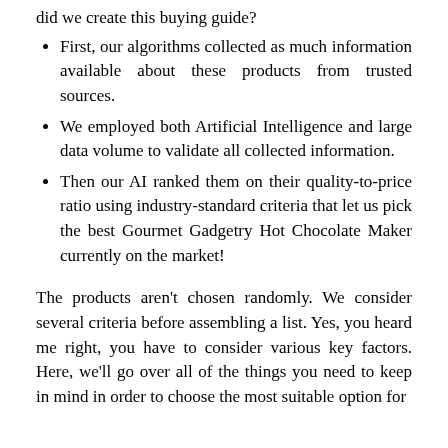did we create this buying guide?
First, our algorithms collected as much information available about these products from trusted sources.
We employed both Artificial Intelligence and large data volume to validate all collected information.
Then our AI ranked them on their quality-to-price ratio using industry-standard criteria that let us pick the best Gourmet Gadgetry Hot Chocolate Maker currently on the market!
The products aren't chosen randomly. We consider several criteria before assembling a list. Yes, you heard me right, you have to consider various key factors. Here, we'll go over all of the things you need to keep in mind in order to choose the most suitable option for